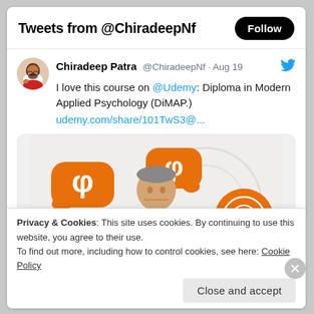Tweets from @ChiradeepNf
Chiradeep Patra @ChiradeepNf · Aug 19
I love this course on @Udemy: Diploma in Modern Applied Psychology (DiMAP.)
udemy.com/share/101TwS3@...
[Figure (screenshot): Course promotional image for Diploma in Modern Applied Psychology (DiMAP) on Udemy, showing a man in white shirt surrounded by orange psychology/chat bubble logos]
Privacy & Cookies: This site uses cookies. By continuing to use this website, you agree to their use.
To find out more, including how to control cookies, see here: Cookie Policy
Close and accept